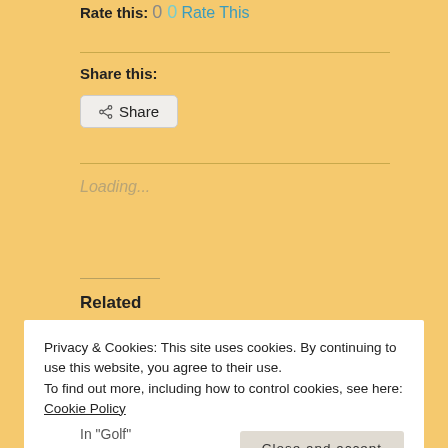Rate this: 0 0 Rate This
Share this:
Share
Loading...
Related
Privacy & Cookies: This site uses cookies. By continuing to use this website, you agree to their use.
To find out more, including how to control cookies, see here: Cookie Policy
Close and accept
In "Golf"